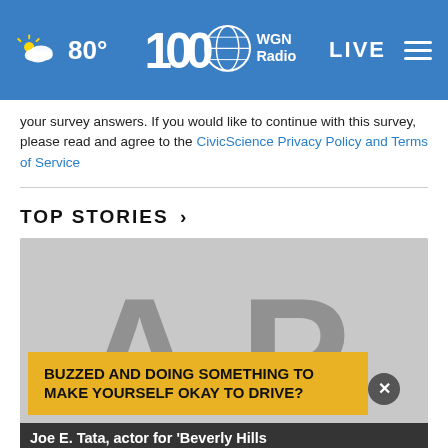80° | WGN Radio 100 | LIVE
your survey answers. If you would like to continue with this survey, please read and agree to the CivicScience Privacy Policy and Terms of Service
TOP STORIES ›
[Figure (photo): AP logo placeholder image on grey background with 'BUZZED AND DOING SOMETHING TO MAKE YOURSELF OKAY TO DRIVE?' advertisement overlay and caption 'Joe E. Tata, actor for Beverly Hills']